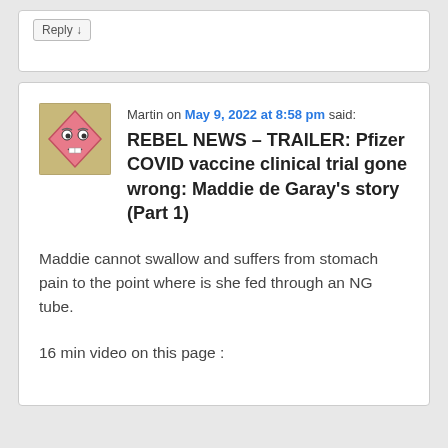Reply ↓
Martin on May 9, 2022 at 8:58 pm said:
REBEL NEWS – TRAILER: Pfizer COVID vaccine clinical trial gone wrong: Maddie de Garay's story (Part 1)
Maddie cannot swallow and suffers from stomach pain to the point where is she fed through an NG tube.
16 min video on this page :